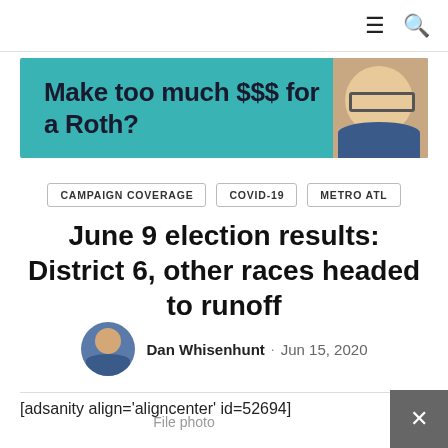☰ 🔍
[Figure (infographic): Advertisement banner with teal background reading 'Make too much $$$ for a Roth?' with a man's photo on the right]
CAMPAIGN COVERAGE   COVID-19   METRO ATL
June 9 election results: District 6, other races headed to runoff
Dan Whisenhunt · Jun 15, 2020
[adsanity align='aligncenter' id=52694]
File photo